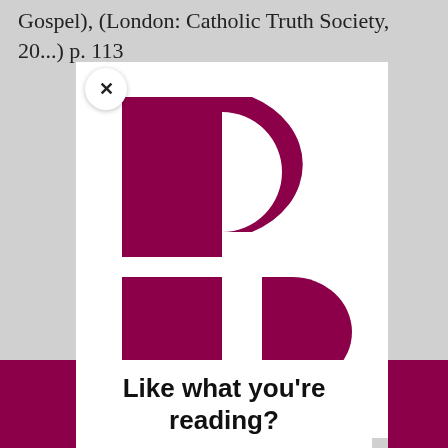Gospel), (London: Catholic Truth Society, 20...) p. 113
[Figure (logo): Aleteia logo — a stylized 'P' shape made of dark magenta/maroon geometric forms: a large rectangle with a D-shaped cap on top (forming the upper half of a P), and below a separate rectangle (vertical stem) with a smaller D-shape to its right (lower portion of the letter).]
Like what you're reading?